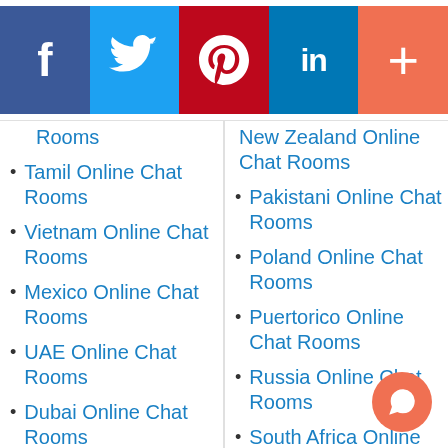[Figure (infographic): Social media share buttons: Facebook (blue), Twitter (light blue), Pinterest (red), LinkedIn (dark blue), Plus/More (orange)]
Rooms
Tamil Online Chat Rooms
Vietnam Online Chat Rooms
Mexico Online Chat Rooms
UAE Online Chat Rooms
Dubai Online Chat Rooms
Spain Online Chat Rooms
Spanish Online Chat Rooms
Thailand
New Zealand Online Chat Rooms
Pakistani Online Chat Rooms
Poland Online Chat Rooms
Puertorico Online Chat Rooms
Russia Online Chat Rooms
South Africa Online Chat Rooms